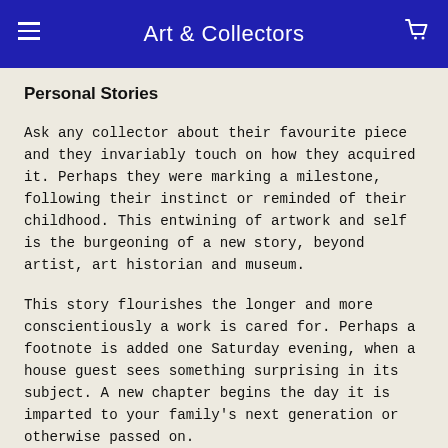Art & Collectors
Personal Stories
Ask any collector about their favourite piece and they invariably touch on how they acquired it. Perhaps they were marking a milestone, following their instinct or reminded of their childhood. This entwining of artwork and self is the burgeoning of a new story, beyond artist, art historian and museum.
This story flourishes the longer and more conscientiously a work is cared for. Perhaps a footnote is added one Saturday evening, when a house guest sees something surprising in its subject. A new chapter begins the day it is imparted to your family's next generation or otherwise passed on. The prologue enriches when a surprising fact is uncovered about its provenance.